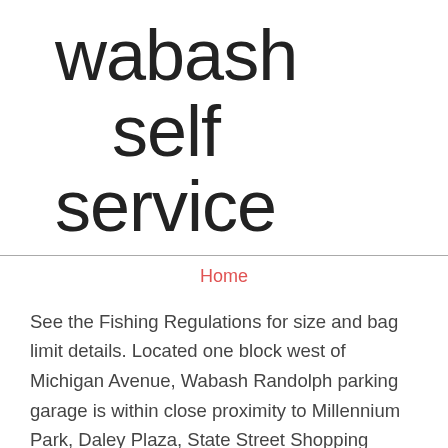wabash self service
Home
See the Fishing Regulations for size and bag limit details. Located one block west of Michigan Avenue, Wabash Randolph parking garage is within close proximity to Millennium Park, Daley Plaza, State Street Shopping district, and the Thompson Center. I didn't really understand the advantage of this to the parking garage